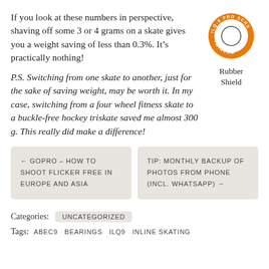If you look at these numbers in perspective, shaving off some 3 or 4 grams on a skate gives you a weight saving of less than 0.3%. It's practically nothing!
[Figure (logo): Circular badge/logo with orange border, white center hole, text reading ILQ-9 PRO SCRS TWINCAM around the ring. Caption: Rubber Shield]
Rubber Shield
P.S. Switching from one skate to another, just for the sake of saving weight, may be worth it. In my case, switching from a four wheel fitness skate to a buckle-free hockey triskate saved me almost 300 g. This really did make a difference!
← GOPRO – HOW TO SHOOT FLICKER FREE IN EUROPE AND ASIA
TIP: MONTHLY BACKUP OF PHOTOS FROM PHONE (INCL. WHATSAPP) →
Categories: UNCATEGORIZED
Tags: ABEC9   BEARINGS   ILQ9   INLINE SKATING